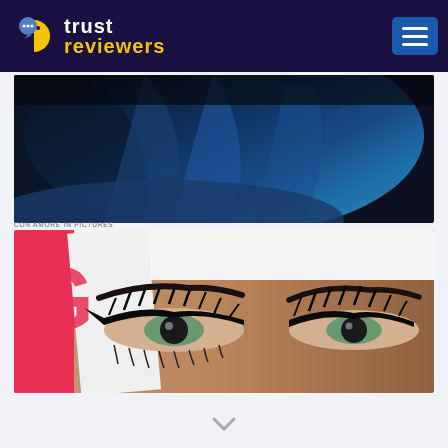trust reviewers
[Figure (photo): A person wearing a blue hijab or headscarf, photographed from behind/side in low light]
[Figure (photo): Close-up of a woman's eyes with dramatic eye makeup (eyeliner, mascara), partially behind a magazine showing the letter G in pink]